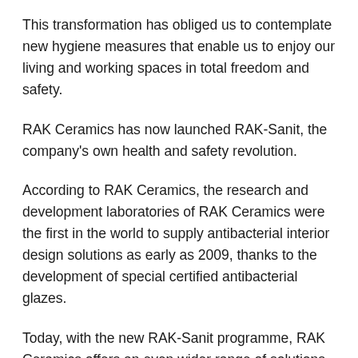This transformation has obliged us to contemplate new hygiene measures that enable us to enjoy our living and working spaces in total freedom and safety.
RAK Ceramics has now launched RAK-Sanit, the company's own health and safety revolution.
According to RAK Ceramics, the research and development laboratories of RAK Ceramics were the first in the world to supply antibacterial interior design solutions as early as 2009, thanks to the development of special certified antibacterial glazes.
Today, with the new RAK-Sanit programme, RAK Ceramics offers an even wider range of solutions for floors, surfaces and sanitary fittings, produced with glazes that reduce the possibility of bacteria and therefore contribute to creating…